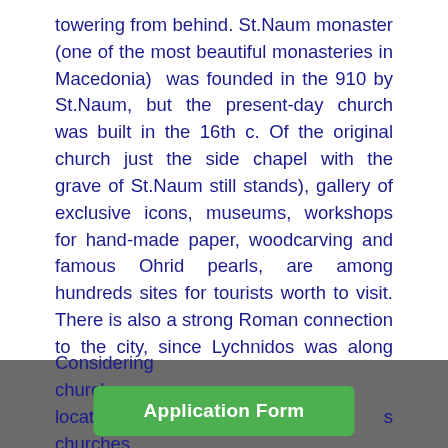towering from behind. St.Naum monaster (one of the most beautiful monasteries in Macedonia) was founded in the 910 by St.Naum, but the present-day church was built in the 16th c. Of the original church just the side chapel with the grave of St.Naum still stands), gallery of exclusive icons, museums, workshops for hand-made paper, woodcarving and famous Ohrid pearls, are among hundreds sites for tourists worth to visit. There is also a strong Roman connection to the city, since Lychnidos was along the famous route Via Egnatia, build in the 2nd century B.C., connecting the Adriatic and Aegean sea.
Considering ... churches located in the ... churches
[Figure (other): Green Application Form button overlay on grey footer bar]